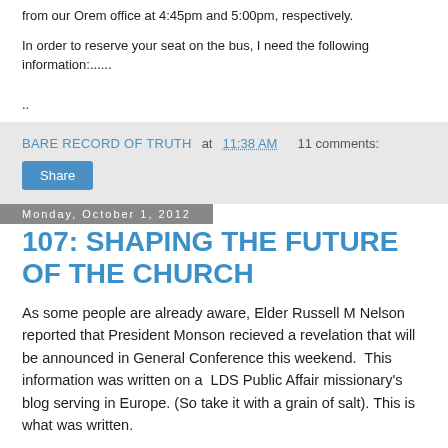from our Orem office at 4:45pm and 5:00pm, respectively.
In order to reserve your seat on the bus, I need the following information:......
..
BARE RECORD OF TRUTH at 11:38 AM    11 comments:
Share
Monday, October 1, 2012
107: SHAPING THE FUTURE OF THE CHURCH
As some people are already aware, Elder Russell M Nelson reported that President Monson recieved a revelation that will be announced in General Conference this weekend.  This information was written on a  LDS Public Affair missionary's blog serving in Europe. (So take it with a grain of salt). This is what was written.
"Yesterday the Area Office was reviewed by Elder